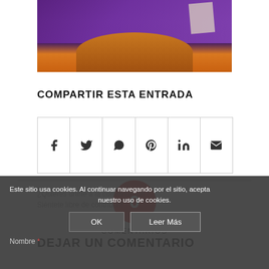[Figure (photo): Person wearing purple robe holding a guitar-like instrument, photo partially cropped]
COMPARTIR ESTA ENTRADA
[Figure (infographic): Social sharing icons row: Facebook, Twitter, WhatsApp, Pinterest, LinkedIn, Email]
0 COMENTARIOS
DEJAR UN COMENTARIO
¿Quieres unirte a la conversación?
Siéntete libre de contribuir!
Este sitio usa cookies. Al continuar navegando por el sitio, acepta nuestro uso de cookies.
Nombre *